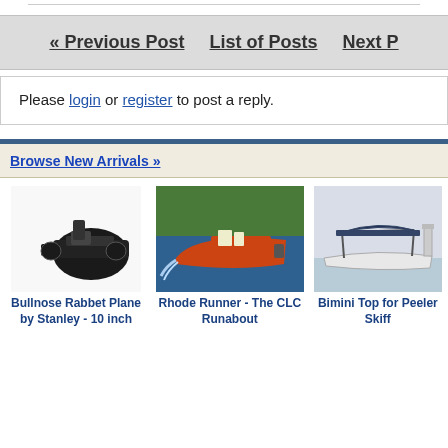« Previous Post   List of Posts   Next P
Please login or register to post a reply.
Browse New Arrivals »
[Figure (photo): Bullnose Rabbet Plane by Stanley - 10 inch]
Bullnose Rabbet Plane by Stanley - 10 inch
[Figure (photo): Rhode Runner - The CLC Runabout - orange speedboat on water]
Rhode Runner - The CLC Runabout
[Figure (photo): Bimini Top for Peeler Skiff - white boat with bimini top]
Bimini Top for Peeler Skiff